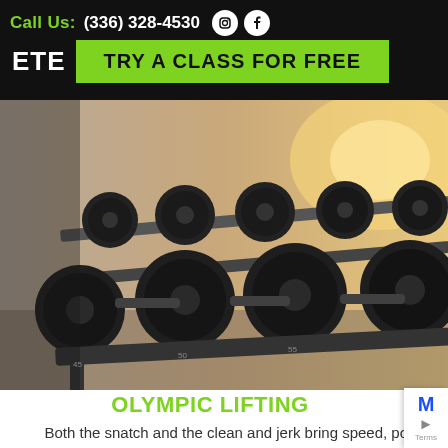Call Us: (336) 328-4530
TRY A CLASS FOR FREE
[Figure (photo): Rack of dumbbells in a gym, close-up shot with warm sunlight in background, showing rows of heavy black dumbbells on a metallic rack]
OLYMPIC LIFTING
Both the snatch and the clean and jerk bring speed, power, coordination, and balance to your overall